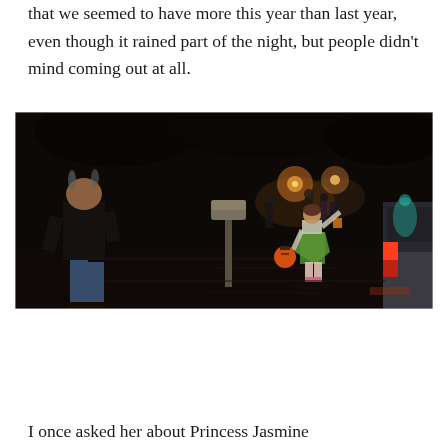that we seemed to have more this year than last year, even though it rained part of the night, but people didn't mind coming out at all.
[Figure (photo): Nighttime Halloween trick-or-treating scene on a residential street. A woman in a black shirt and jeans stands on the left watching. A small child in a green fairy/tinkerbell costume carries an orange pumpkin candy bucket. Several other trick-or-treaters and adults are visible in the background near a mailbox, with street lights illuminating the dark wet street. An SUV is partially visible on the right.]
I once asked her about Princess Jasmine